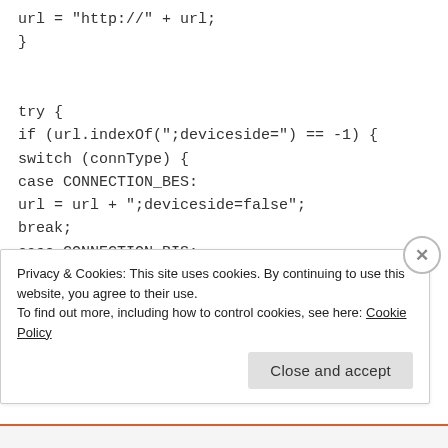url = "http://" + url;
}


try {
if (url.indexOf(";deviceside=") == -1) {
switch (connType) {
case CONNECTION_BES:
url = url + ";deviceside=false";
break;
case CONNECTION_BIS:
url = url +
";deviceside=false;connectiontype=mds-public";
break:
Privacy & Cookies: This site uses cookies. By continuing to use this website, you agree to their use.
To find out more, including how to control cookies, see here: Cookie Policy